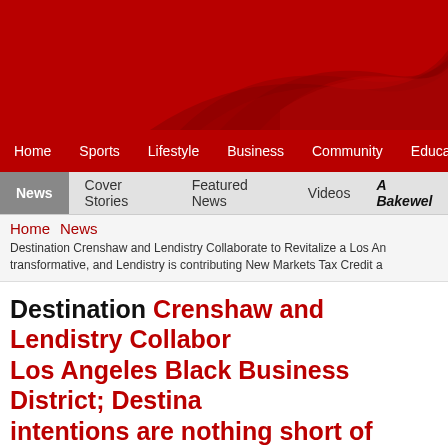[Figure (illustration): Red banner header with abstract wave pattern in darker red on a crimson background]
Home  Sports  Lifestyle  Business  Community  Education
News  Cover Stories  Featured News  Videos  A Bakewell
Home  News
Destination Crenshaw and Lendistry Collaborate to Revitalize a Los An transformative, and Lendistry is contributing New Markets Tax Credit a
Destination Crenshaw and Lendistry Collaborate Los Angeles Black Business District; Destination intentions are nothing short of transformative, contributing New Markets Tax Credit allocatio vi
Published on Thursday, 13 January 2022 16:46
Written by LAWT News Service